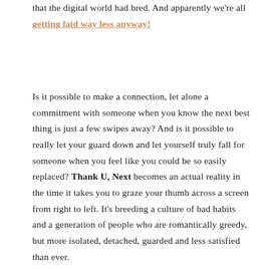that the digital world had bred. And apparently we're all getting laid way less anyway!
Is it possible to make a connection, let alone a commitment with someone when you know the next best thing is just a few swipes away? And is it possible to really let your guard down and let yourself truly fall for someone when you feel like you could be so easily replaced? Thank U, Next becomes an actual reality in the time it takes you to graze your thumb across a screen from right to left. It's breeding a culture of bad habits and a generation of people who are romantically greedy, but more isolated, detached, guarded and less satisfied than ever.